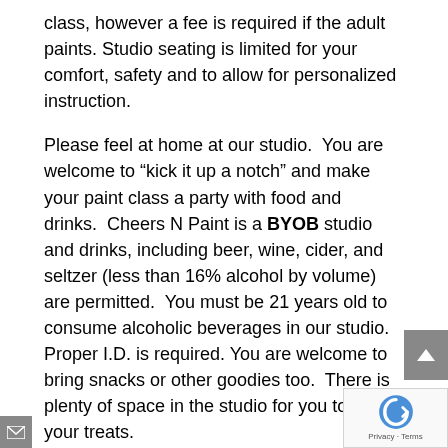class, however a fee is required if the adult paints. Studio seating is limited for your comfort, safety and to allow for personalized instruction.
Please feel at home at our studio.  You are welcome to “kick it up a notch” and make your paint class a party with food and drinks.  Cheers N Paint is a BYOB studio and drinks, including beer, wine, cider, and seltzer (less than 16% alcohol by volume) are permitted.  You must be 21 years old to consume alcoholic beverages in our studio. Proper I.D. is required. You are welcome to bring snacks or other goodies too.  There is plenty of space in the studio for you to set up your treats.
Please come 15 minutes before the paint class time.  Have time to set up, settle in, relax, and get ready to have fun creating.  Our classes start